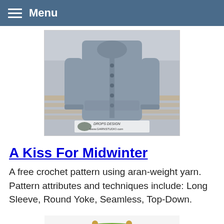Menu
[Figure (photo): Photo of a gray crocheted cardigan sweater displayed outdoors, with DROPS DESIGN / www.GARNSTUDIO.com watermark at bottom]
A Kiss For Midwinter
A free crochet pattern using aran-weight yarn. Pattern attributes and techniques include: Long Sleeve, Round Yoke, Seamless, Top-Down.
[Figure (photo): Photo of a green crocheted market bag with a red flower embellishment and CrochetKim watermark at top]